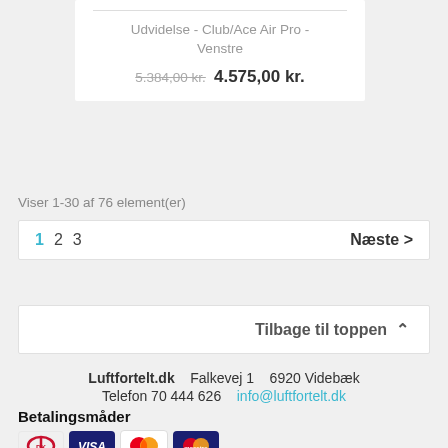Udvidelse - Club/Ace Air Pro - Venstre
5.384,00 kr. 4.575,00 kr.
Viser 1-30 af 76 element(er)
1 2 3   Næste >
Tilbage til toppen ^
Luftfortelt.dk   Falkevej 1   6920 Videbæk   Telefon 70 444 626   info@luftfortelt.dk   Betalingsmåder
[Figure (logo): Payment method logos: Dankort, VISA, Mastercard, Maestro]